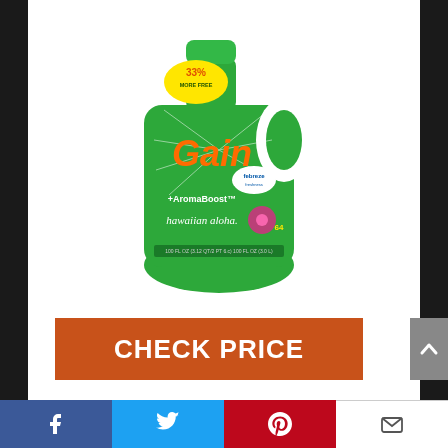[Figure (photo): Gain + Febreze + AromaBoost Hawaiian Aloha liquid laundry detergent bottle, green, 64 loads, 100 fl oz, with 33% MORE label on yellow banner]
CHECK PRICE
Feature
Liquid laundry detergent with
[Figure (infographic): Social share bar with Facebook, Twitter, Pinterest, and email icons]